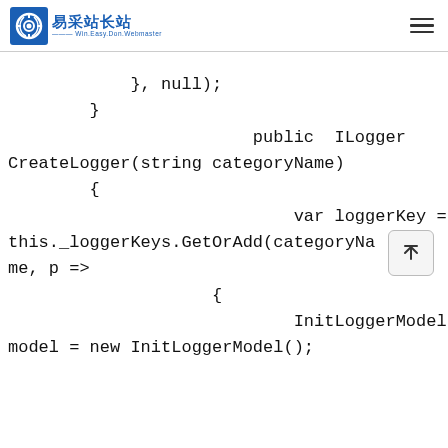易采站长站 | Win.Easy.Don.Webmaster
}, null);
        }
                        public  ILogger CreateLogger(string categoryName)
        {
                            var loggerKey =
 this._loggerKeys.GetOrAdd(categoryNa
me, p =>
                    {
                            InitLoggerModel
 model = new InitLoggerModel();